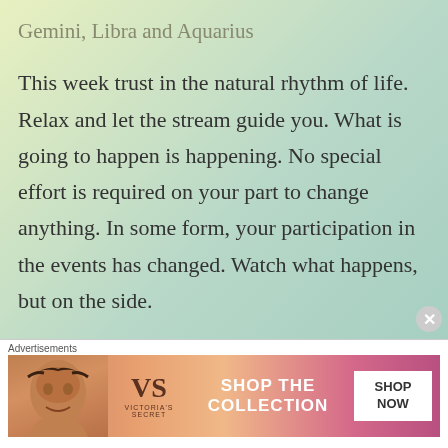Gemini, Libra and Aquarius
This week trust in the natural rhythm of life. Relax and let the stream guide you. What is going to happen is happening. No special effort is required on your part to change anything. In some form, your participation in the events has changed. Watch what happens, but on the side.
Career – movement, development, potential – a successful period for your career. Everything will
[Figure (screenshot): Victoria's Secret advertisement banner with model, VS logo, 'SHOP THE COLLECTION' text, and 'SHOP NOW' button]